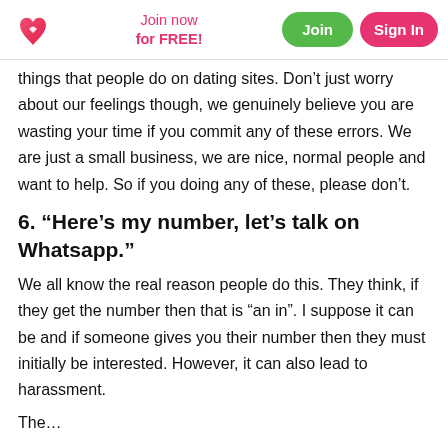Join now for FREE! | Join | Sign In
things that people do on dating sites. Don't just worry about our feelings though, we genuinely believe you are wasting your time if you commit any of these errors. We are just a small business, we are nice, normal people and want to help. So if you doing any of these, please don't.
6. “Here’s my number, let’s talk on Whatsapp.”
We all know the real reason people do this. They think, if they get the number then that is “an in”. I suppose it can be and if someone gives you their number then they must initially be interested. However, it can also lead to harassment.
The…